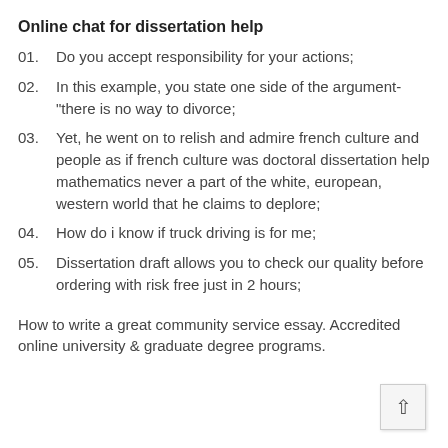Online chat for dissertation help
01.   Do you accept responsibility for your actions;
02.   In this example, you state one side of the argument-"there is no way to divorce;
03.   Yet, he went on to relish and admire french culture and people as if french culture was doctoral dissertation help mathematics never a part of the white, european, western world that he claims to deplore;
04.   How do i know if truck driving is for me;
05.   Dissertation draft allows you to check our quality before ordering with risk free just in 2 hours;
How to write a great community service essay. Accredited online university & graduate degree programs.